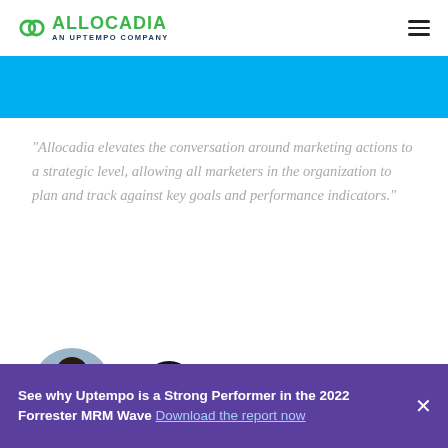Allocadia — An Uptempo Company
[Figure (illustration): Partial blue banner at top of page, likely containing heading text (partially visible)]
“Allocadia elevates the conversation around marketing actions to a strategic level, allowing all marketers in the organization to plan and track against key goals and performance indicators.”
[Figure (photo): Circular cropped headshot of a woman with dark hair, against a teal/blue circle background]
[Figure (logo): GE Digital logo — black circle with GE monogram in white, followed by text 'GE Digital']
See why Uptempo is a Strong Performer in the 2022 Forrester MRM Wave Download the report now